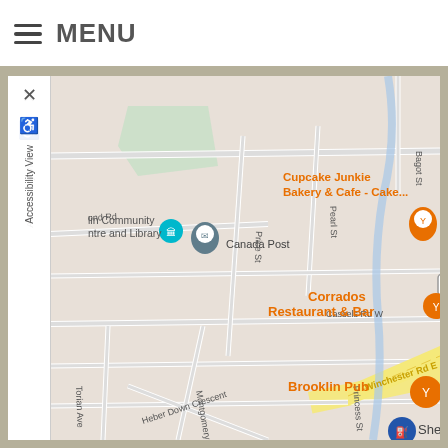≡ MENU
[Figure (map): Google Maps screenshot showing Brooklin, Ontario area with streets including Durham St, Pearl St, Price St, Montgomery Ave, Torian Ave, Heber Down Crescent, Cassels Rd W, Winchester Rd E, and Bagot St. Points of interest marked include Harvest, Cupcake Junkie Bakery & Cafe - Cake..., Canada Post, Brooklin Community Centre and Library, Corrados Restaurant & Bar, Brooklin Day Nursery, Brooklin Pub, and Shell. An accessibility sidebar panel is on the left with a close X button.]